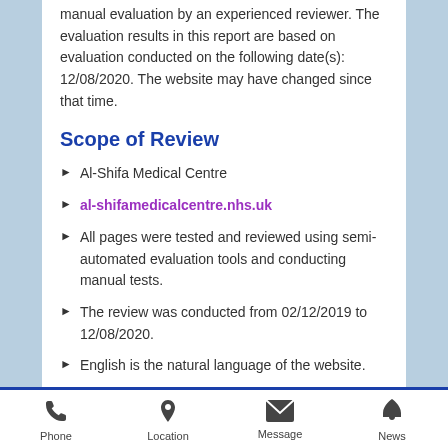manual evaluation by an experienced reviewer. The evaluation results in this report are based on evaluation conducted on the following date(s): 12/08/2020. The website may have changed since that time.
Scope of Review
Al-Shifa Medical Centre
al-shifamedicalcentre.nhs.uk
All pages were tested and reviewed using semi-automated evaluation tools and conducting manual tests.
The review was conducted from 02/12/2019 to 12/08/2020.
English is the natural language of the website.
Phone  Location  Message  News